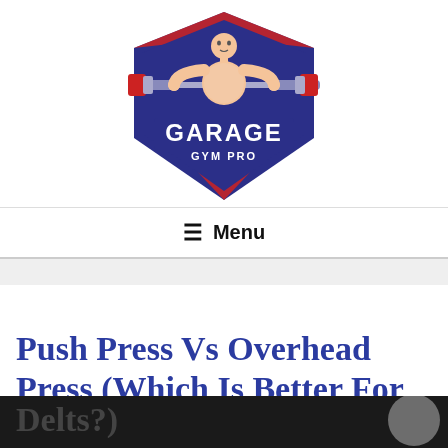[Figure (logo): Garage Gym Pro logo: muscular figure holding a barbell overhead, inside a dark blue shield shape with red accents, text GARAGE GYM PRO]
≡ Menu
Push Press Vs Overhead Press (Which Is Better For Delts?)